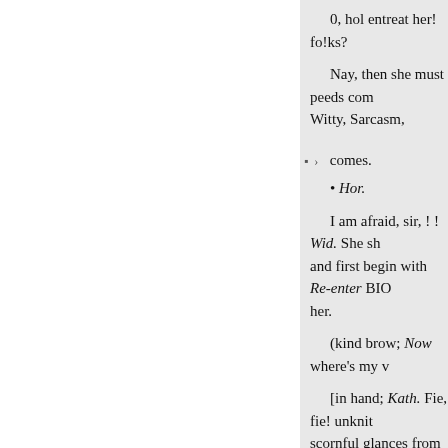0, hol entreat her! fo!ks?
Nay, then she must peeds com Witty, Sarcasm,
comes.
• Hor.
I am afraid, sir, ! ! Wid. She sh and first begin with Re-enter BIO her.
(kind brow; Now where's my v
[in hand; Kath. Fie, fie! unknit scornful glances from those eyes thy governor:
Pet. Worse and worse; she will n endured! (O vile, Confounds thy
And in no sense is meet, or am
[Exit Geum10. Muddy, ill-seen
And, while it is so, none so dr